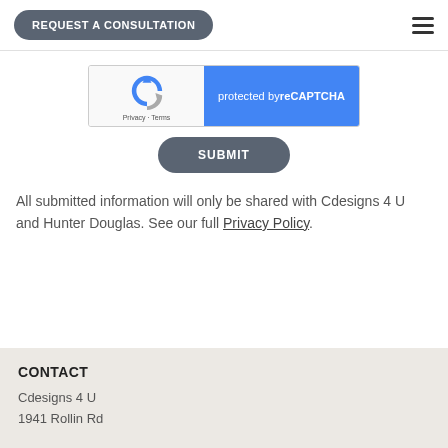REQUEST A CONSULTATION
[Figure (screenshot): reCAPTCHA widget showing logo on left and 'protected by reCAPTCHA' on blue background on right, with Privacy and Terms links]
SUBMIT
All submitted information will only be shared with Cdesigns 4 U and Hunter Douglas. See our full Privacy Policy.
CONTACT
Cdesigns 4 U
1941 Rollin Rd